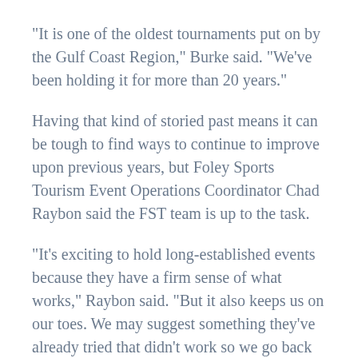“It is one of the oldest tournaments put on by the Gulf Coast Region,” Burke said. “We’ve been holding it for more than 20 years.”
Having that kind of storied past means it can be tough to find ways to continue to improve upon previous years, but Foley Sports Tourism Event Operations Coordinator Chad Raybon said the FST team is up to the task.
“It’s exciting to hold long-established events because they have a firm sense of what works,” Raybon said. “But it also keeps us on our toes. We may suggest something they’ve already tried that didn’t work so we go back and look at things again. To keep teams wanting to return year after year you have to continue to improve upon what you do and Eastern Shore Volleyball Club is always excited to work with us to make that happen.”